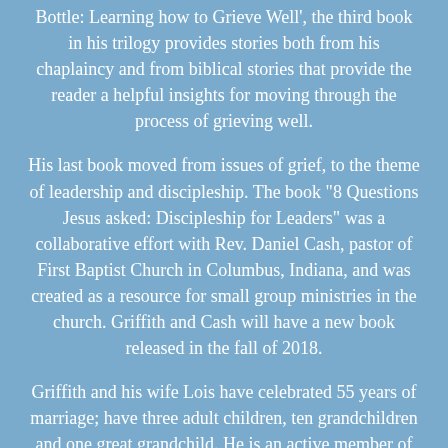Bottle: Learning how to Grieve Well', the third book in his trilogy provides stories both from his chaplaincy and from biblical stories that provide the reader a helpful insights for moving through the process of grieving well.
His last book moved from issues of grief, to the theme of leadership and discipleship. The book "8 Questions Jesus asked: Discipleship for Leaders" was a collaborative effort with Rev. Daniel Cash, pastor of First Baptist Church in Columbus, Indiana, and was created as a resource for small group ministries in the church. Griffith and Cash will have a new book released in the fall of 2018.
Griffith and his wife Lois have celebrated 55 years of marriage; have three adult children, ten grandchildren and one great grandchild. He is an active member of First Baptist Church in Columbus, Indiana where he co-leads a "Men of Faith" study group. He holds both a Doctor of Ministry and Masters of Divinity degree and has 35 years of pastoral